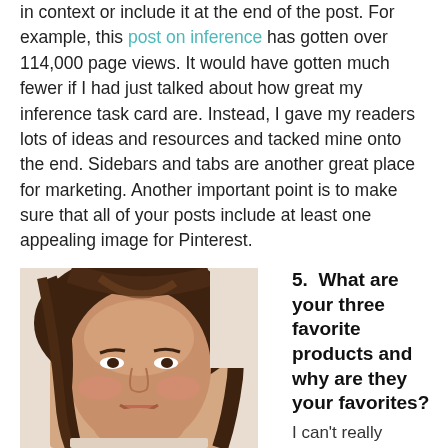in context or include it at the end of the post. For example, this post on inference has gotten over 114,000 page views. It would have gotten much fewer if I had just talked about how great my inference task card are. Instead, I gave my readers lots of ideas and resources and tacked mine onto the end. Sidebars and tabs are another great place for marketing. Another important point is to make sure that all of your posts include at least one appealing image for Pinterest.
[Figure (photo): A young woman with long brown hair smiling, photographed from slightly below, with a light-colored wall background.]
5.  What are your three favorite products and why are they your favorites?
I can't really